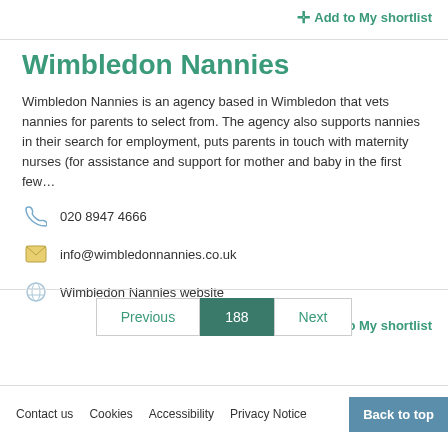+ Add to My shortlist
Wimbledon Nannies
Wimbledon Nannies is an agency based in Wimbledon that vets nannies for parents to select from. The agency also supports nannies in their search for employment, puts parents in touch with maternity nurses (for assistance and support for mother and baby in the first few…
020 8947 4666
info@wimbledonnannies.co.uk
Wimbledon Nannies website
+ Add to My shortlist
Previous  188  Next
Contact us   Cookies   Accessibility   Privacy Notice   Back to top